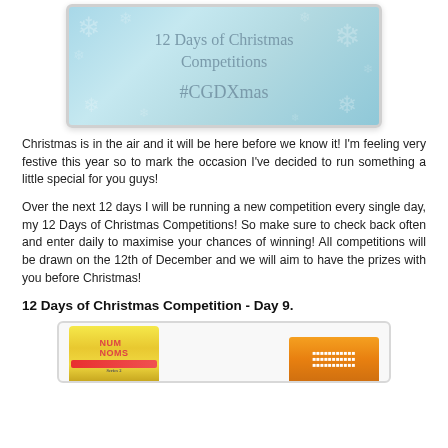[Figure (illustration): Banner image with snowflake background in light blue tones, text reading '12 Days of Christmas Competitions' and '#CGDXmas', with white border and rounded corners]
Christmas is in the air and it will be here before we know it! I'm feeling very festive this year so to mark the occasion I've decided to run something a little special for you guys!
Over the next 12 days I will be running a new competition every single day, my 12 Days of Christmas Competitions! So make sure to check back often and enter daily to maximise your chances of winning! All competitions will be drawn on the 12th of December and we will aim to have the prizes with you before Christmas!
12 Days of Christmas Competition - Day 9.
[Figure (photo): Product image showing Num Noms and another product box partly visible, against a white/grey rounded-box background]